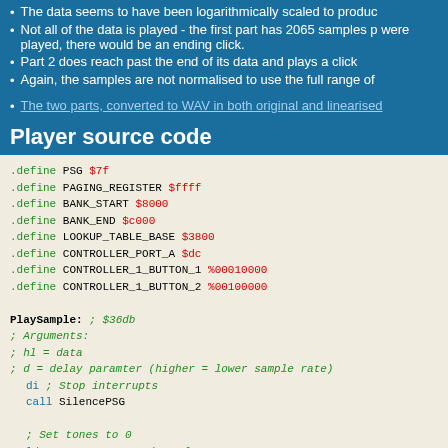The data seems to have been logarithmically scaled to produce
Not all of the data is played - the first part has 2065 samples p were played, there would be an ending click.
Part 2 does reach past the end of its data and plays a click
Again, the samples are not normalised to use the full range of
The two parts, converted to WAV in both original and linearised
Player source code
.define PSG $7f
.define PAGING_REGISTER $ffff
.define BANK_START $8000
.define BANK_END $c000
.define LOOKUP_TABLE_BASE $3800
.define CONTROLLER_PORT_A $dc
.define CONTROLLER_1_BUTTON_1 %00010000
.define CONTROLLER_1_BUTTON_2 %00100000

PlaySample: ; $36db
; Arguments:
; hl = data
; d = delay paramter (higher = lower sample rate)
    di ; Stop interrupts
    call SilencePSG

    ; Set tones to 0
    ld a, %10000000 ; Channel 0 tone 0
    out (PSG), a
    xor a
    out (PSG), a
    ld a, %10100000 ; Channel 1 tone 0